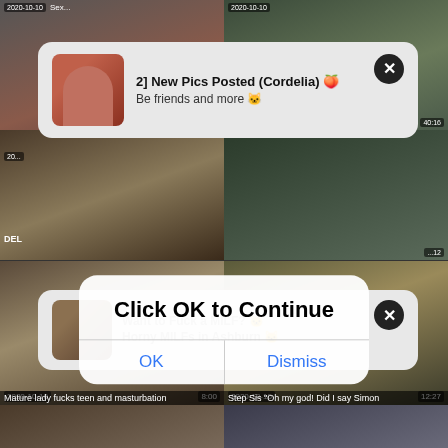[Figure (screenshot): Adult video website screenshot with grid of video thumbnails showing adult content, overlaid with browser notification popups and a system dialog box reading 'Click OK to Continue' with OK and Dismiss buttons. Thumbnails include timestamps (2020-10-10) and video titles. Two notification banners appear: one for '2] New Pics Posted (Cordelia)' and one partially visible 'Want to Fuck a MILF?' notification.]